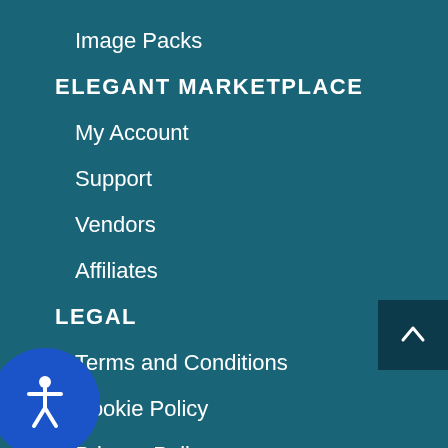Image Packs
ELEGANT MARKETPLACE
My Account
Support
Vendors
Affiliates
LEGAL
Terms and Conditions
Cookie Policy
Privacy Policy
GDPR
CCPA Compliance
Not Sell My Personal Information
bsite Accessibility Statement